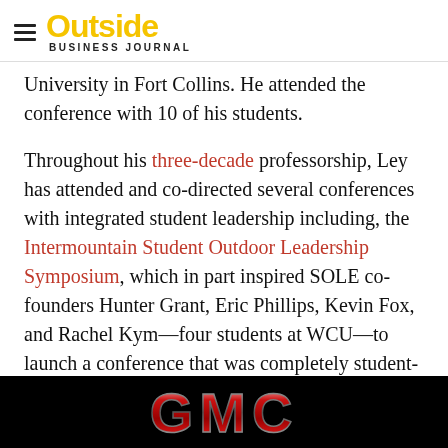Outside Business Journal
University in Fort Collins. He attended the conference with 10 of his students.
Throughout his three-decade professorship, Ley has attended and co-directed several conferences with integrated student leadership including, the Intermountain Student Outdoor Leadership Symposium, which in part inspired SOLE co-founders Hunter Grant, Eric Phillips, Kevin Fox, and Rachel Kym—four students at WCU—to launch a conference that was completely student-led and inclusive to a greater number of campuses.
“The purpose of SOLE was to bring students from across the mountain west, and across the outdoor industry’s collegiate level, to… oke,” said Phi…
[Figure (logo): GMC advertisement banner with red and chrome GMC lettering on black background]